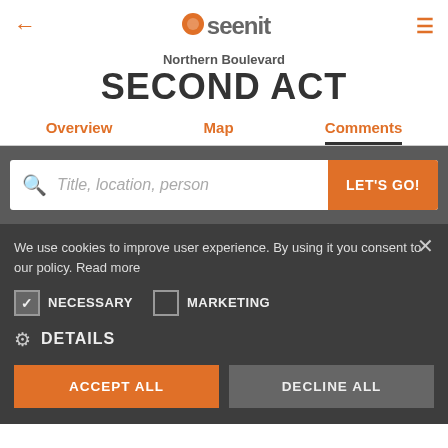[Figure (logo): Seenit app logo with orange pin icon and grey text]
Northern Boulevard
SECOND ACT
Overview   Map   Comments
Title, location, person   LET'S GO!
We use cookies to improve user experience. By using it you consent to our policy. Read more
NECESSARY
MARKETING
DETAILS
ACCEPT ALL
DECLINE ALL